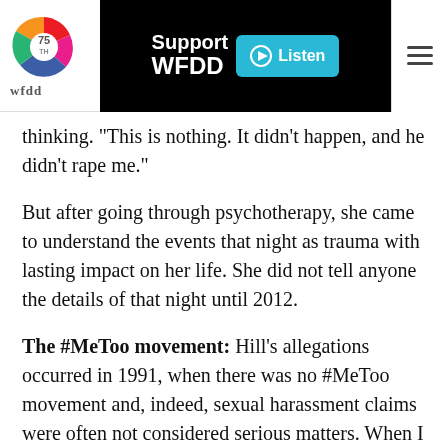[Figure (logo): WFDD 75th anniversary logo with colorful swirl design]
Support WFDD
Listen
thinking. "This is nothing. It didn't happen, and he didn't rape me."
But after going through psychotherapy, she came to understand the events that night as trauma with lasting impact on her life. She did not tell anyone the details of that night until 2012.
The #MeToo movement: Hill's allegations occurred in 1991, when there was no #MeToo movement and, indeed, sexual harassment claims were often not considered serious matters. When I first learned of Hill's charges back then, most of the Democratic senators I talked to did not want a public airing of her